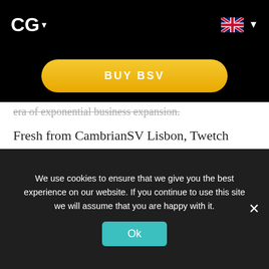CG ▾
[Figure (other): BUY BSV golden pill-shaped button]
era of exponential business expansion.
Fresh from CambrianSV Lisbon, Twetch Berlin, an unnamed gallivant in Amsterdam and the RelayX basketball game in London, about half of the presenters at day one of CoinGeek conference have worked in tandem for the last few weeks to integrate code created by their peers on the near-month-long globe trot. As these entrepreneurs and
We use cookies to ensure that we give you the best experience on our website. If you continue to use this site we will assume that you are happy with it.